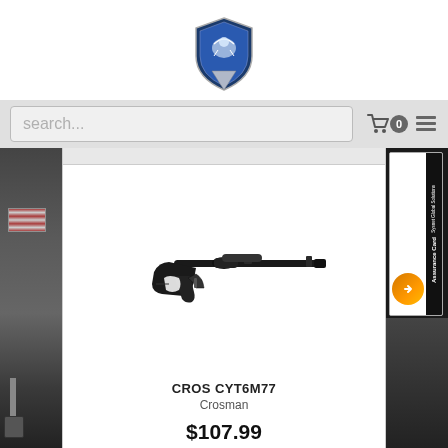[Figure (logo): Shield/badge logo with eagle emblem in blue and silver]
[Figure (screenshot): Search bar with placeholder text 'search...', cart icon with count 0, and hamburger menu icon]
[Figure (photo): Air rifle / pellet gun product image - Crosman CYT6M77 black air rifle]
CROS CYT6M77
Crosman
$107.99